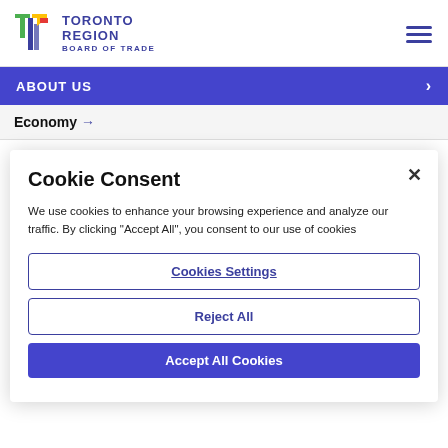Toronto Region Board of Trade
ABOUT US
Economy →
Cookie Consent
We use cookies to enhance your browsing experience and analyze our traffic. By clicking "Accept All", you consent to our use of cookies
Cookies Settings
Reject All
Accept All Cookies